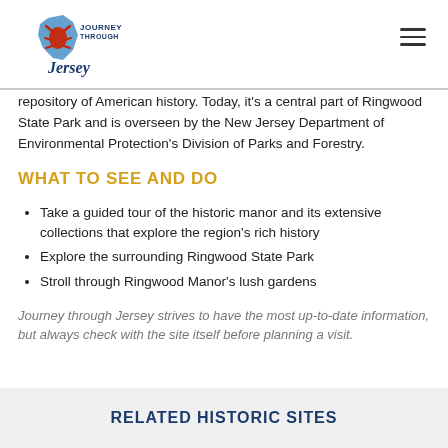Journey Through Jersey
repository of American history. Today, it’s a central part of Ringwood State Park and is overseen by the New Jersey Department of Environmental Protection’s Division of Parks and Forestry.
WHAT TO SEE AND DO
Take a guided tour of the historic manor and its extensive collections that explore the region’s rich history
Explore the surrounding Ringwood State Park
Stroll through Ringwood Manor’s lush gardens
Journey through Jersey strives to have the most up-to-date information, but always check with the site itself before planning a visit.
RELATED HISTORIC SITES